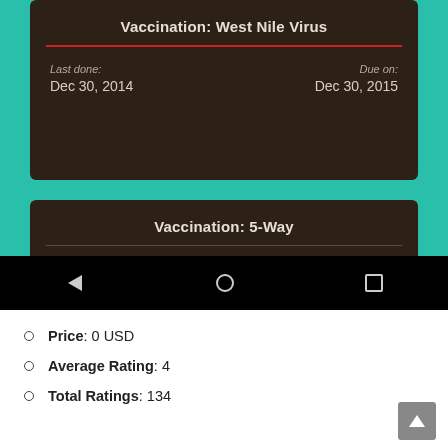[Figure (screenshot): Mobile app screenshot showing vaccination records on a teal background. First card: 'Vaccination: West Nile Virus' with red underline, Last done: Dec 30, 2014, Due on: Dec 30, 2015. Second card: 'Vaccination: 5-Way' with grey underline, partially visible. Android navigation bar at bottom with back, home, and recents icons.]
Price: 0 USD
Average Rating: 4
Total Ratings: 134